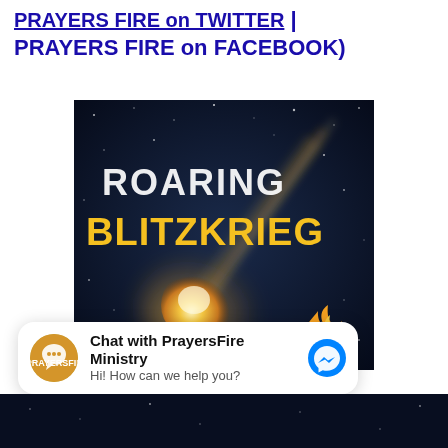PRAYERS FIRE on TWITTER | PRAYERS FIRE on FACEBOOK)
[Figure (illustration): Roaring Blitzkrieg book or album cover image — dark starry background with a comet/fireball, bold white and gold text reading 'ROARING BLITZKRIEG', and a flame logo in the lower right corner.]
Chat with PrayersFire Ministry
Hi! How can we help you?
[Figure (illustration): Partial bottom portion of the Roaring Blitzkrieg image — dark starry background.]